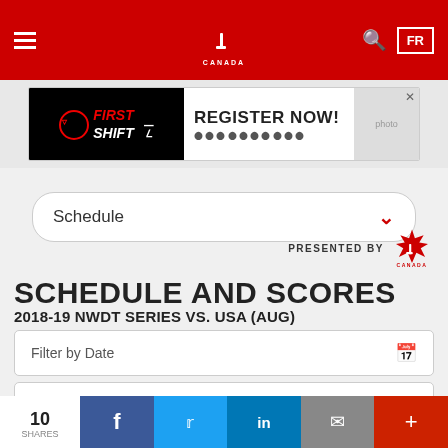[Figure (screenshot): Hockey Canada website header with red background, hamburger menu on left, Hockey Canada maple leaf logo in center, search icon and FR language button on right]
[Figure (screenshot): First Shift advertisement banner: Register Now with NHL logos and team logos]
Schedule
[Figure (logo): Hockey Canada maple leaf logo with CANADA text, labeled PRESENTED BY]
SCHEDULE AND SCORES
2018-19 NWDT SERIES VS. USA (AUG)
Filter by Date
Filter by Team
10
SHARES